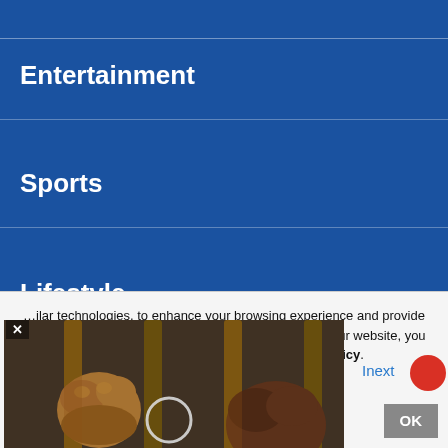Entertainment
Sports
Lifestyle
Timepass
[Figure (photo): Two hands gripping metal prison bars, close-up shot with rusty bars visible]
Inext
…ilar technologies, to enhance your browsing experience and provide personalised recommendations. By continuing to use our website, you agree to our Privacy Policy and Cookie Policy.